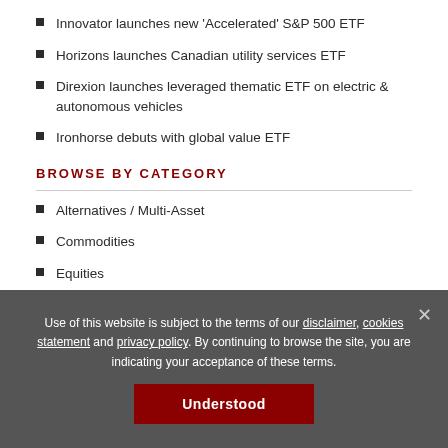Innovator launches new 'Accelerated' S&P 500 ETF
Horizons launches Canadian utility services ETF
Direxion launches leveraged thematic ETF on electric & autonomous vehicles
Ironhorse debuts with global value ETF
BROWSE BY CATEGORY
Alternatives / Multi-Asset
Commodities
Equities
ETF and Index News
Fixed Income
Use of this website is subject to the terms of our disclaimer, cookies statement and privacy policy. By continuing to browse the site, you are indicating your acceptance of these terms.